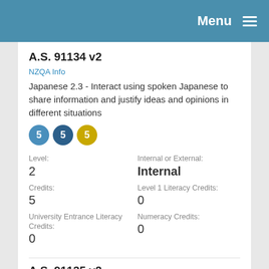Menu
A.S. 91134 v2
NZQA Info
Japanese 2.3 - Interact using spoken Japanese to share information and justify ideas and opinions in different situations
5 5 5
Level:
2
Credits:
5
University Entrance Literacy Credits:
0
Internal or External:
Internal
Level 1 Literacy Credits:
0
Numeracy Credits:
0
A.S. 91135 v2
NZQA Info
Japanese 2.3 - Give a spoken presentation in